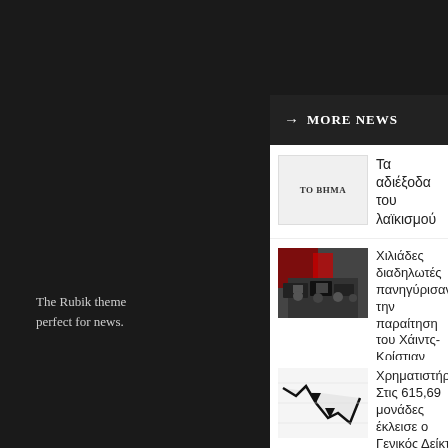The Rubik theme perfect for news.
TAGS
News
Tra...
Technology
Music
Bu...
Church
MORE NEWS
Τα αδιέξοδα του λαϊκισμού
Χιλιάδες διαδηλωτές πανηγύρισαν την παραίτηση του Χάιντς-Κρίστιαν Στράχε και ζήτησαν εκλογές
Χρηματιστήριο: Στις 615,69 μονάδες έκλεισε ο Γενικός Δείκτης Τιμών, με άνοδο 1,42%